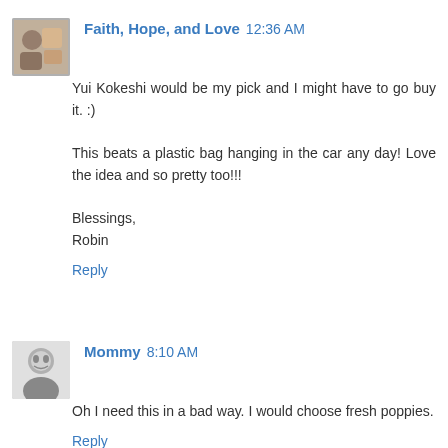[Figure (photo): Avatar image for Faith, Hope, and Love commenter - colorful small square photo]
Faith, Hope, and Love  12:36 AM
Yui Kokeshi would be my pick and I might have to go buy it. :)

This beats a plastic bag hanging in the car any day! Love the idea and so pretty too!!!

Blessings,
Robin
Reply
[Figure (photo): Avatar image for Mommy commenter - black and white photo of a child]
Mommy  8:10 AM
Oh I need this in a bad way. I would choose fresh poppies.
Reply
Anonymous  9:04 AM
What a great idea, no more trash can falling every time...